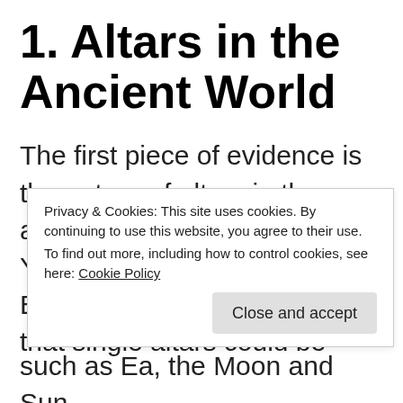1. Altars in the Ancient World
The first piece of evidence is the nature of altars in the ancient world. Unlike Yahweh’s altars, ancient Near Eastern texts hold evidence that single altars could be
Privacy & Cookies: This site uses cookies. By continuing to use this website, you agree to their use.
To find out more, including how to control cookies, see here: Cookie Policy
such as Ea, the Moon and Sun